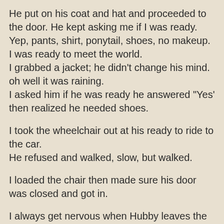He put on his coat and hat and proceeded to the door. He kept asking me if I was ready.
Yep, pants, shirt, ponytail, shoes, no makeup. I was ready to meet the world.
I grabbed a jacket; he didn't change his mind.
oh well it was raining.
I asked him if he was ready he answered "Yes' then realized he needed shoes.

I took the wheelchair out at his ready to ride to the car.
He refused and walked, slow, but walked.

I loaded the chair then made sure his door was closed and got in.

I always get nervous when Hubby leaves the house.
I never know what he may have up his sleeve once we make the 6 mile trip to get to town.
He had no plans so we went to the store for milk.
He waited in the car.